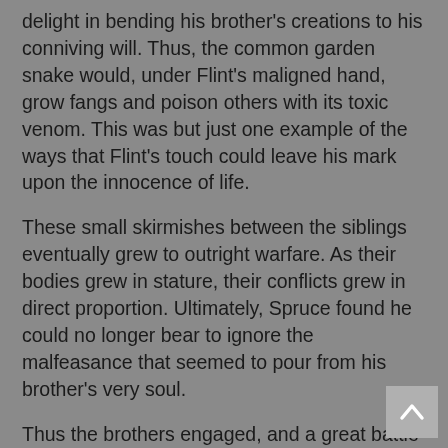delight in bending his brother's creations to his conniving will. Thus, the common garden snake would, under Flint's maligned hand, grow fangs and poison others with its toxic venom. This was but just one example of the ways that Flint's touch could leave his mark upon the innocence of life.
These small skirmishes between the siblings eventually grew to outright warfare. As their bodies grew in stature, their conflicts grew in direct proportion. Ultimately, Spruce found he could no longer bear to ignore the malfeasance that seemed to pour from his brother's very soul.
Thus the brothers engaged, and a great battle ensued. A cataclysmic tussel that lasted for a very long time – whether one or one thousand years passed – the battle raged on. No one knew as no one was there to mark its passing. What is known, the twins in their epic conflict created the mountainscapes, deep canyons and gorges as they flung their titanic bodies across Turtle Island, slamming each other into the fertile soil.
When the world seemed that it could no longer bear